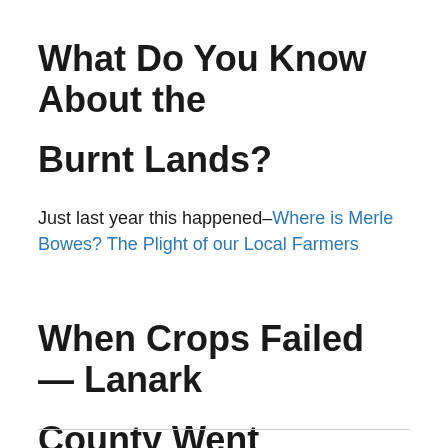What Do You Know About the Burnt Lands?
Just last year this happened–Where is Merle Bowes? The Plight of our Local Farmers
When Crops Failed — Lanark County Went Manitoba Dreamin'